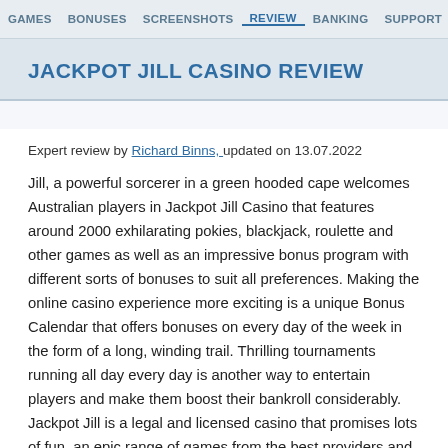GAMES   BONUSES   SCREENSHOTS   REVIEW   BANKING   SUPPORT   RELATED CA
JACKPOT JILL CASINO REVIEW
Expert review by Richard Binns, updated on 13.07.2022
Jill, a powerful sorcerer in a green hooded cape welcomes Australian players in Jackpot Jill Casino that features around 2000 exhilarating pokies, blackjack, roulette and other games as well as an impressive bonus program with different sorts of bonuses to suit all preferences. Making the online casino experience more exciting is a unique Bonus Calendar that offers bonuses on every day of the week in the form of a long, winding trail. Thrilling tournaments running all day every day is another way to entertain players and make them boost their bankroll considerably. Jackpot Jill is a legal and licensed casino that promises lots of fun, an epic range of games from the best providers and awesome bonus options to registered players